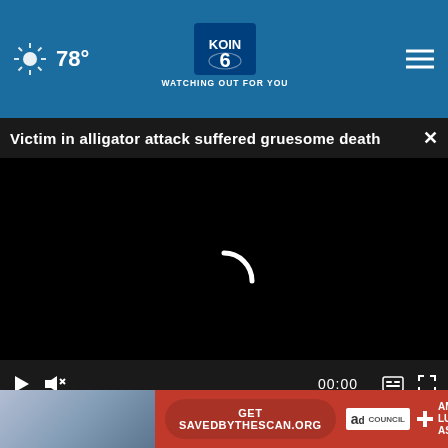KOIN 6 - WATCHING OUT FOR YOU | 78°
Victim in alligator attack suffered gruesome death ×
[Figure (screenshot): Video player area with black background and loading spinner (arc), video controls bar at bottom showing play button, mute icon, timestamp 00:00, caption icon, and fullscreen icon]
strikes tree, dies
vancouver couple's home
[Figure (screenshot): Advertisement banner: red background with button 'Get SAVEDBYTHESCAN.ORG', Ad Council logo, American Lung Association cross logo and text]